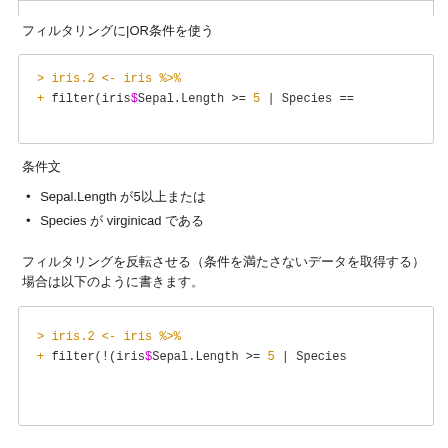フィルタリングにOR条件を使う場合
[Figure (screenshot): R code block: iris.2 <- iris %>% filter(iris$Sepal.Length >= 5 | Species ==]
条件文
Sepal.Length が5以上または
Species が virginicad である
フィルタリングを反転させる（条件を満たさないデータを取得する）場合は以下のように書きます。
[Figure (screenshot): R code block: iris.2 <- iris %>% filter(!(iris$Sepal.Length >= 5 | Species]